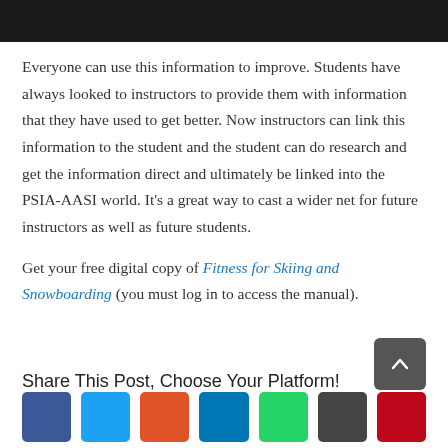Everyone can use this information to improve. Students have always looked to instructors to provide them with information that they have used to get better. Now instructors can link this information to the student and the student can do research and get the information direct and ultimately be linked into the PSIA-AASI world. It’s a great way to cast a wider net for future instructors as well as future students.
Get your free digital copy of Fitness for Skiing and Snowboarding (you must log in to access the manual).
Share This Post, Choose Your Platform!